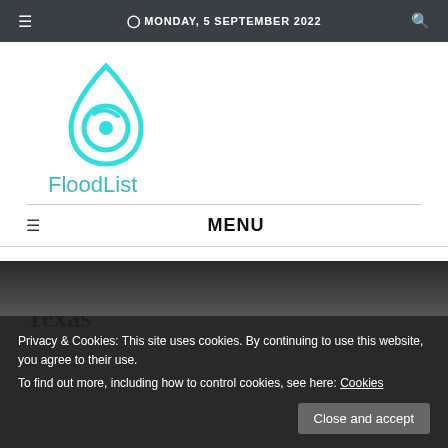MONDAY, 5 SEPTEMBER 2022
[Figure (logo): FloodList water drop logo in cyan/teal color with circular swirl design, followed by the text 'FloodList' in cyan]
MENU
14 mins ago - Senegal – Floods in Dakar Leave 3
Texas
Privacy & Cookies: This site uses cookies. By continuing to use this website, you agree to their use.
To find out more, including how to control cookies, see here: Cookies
[Figure (photo): Dark flood scene photograph showing cars in floodwater]